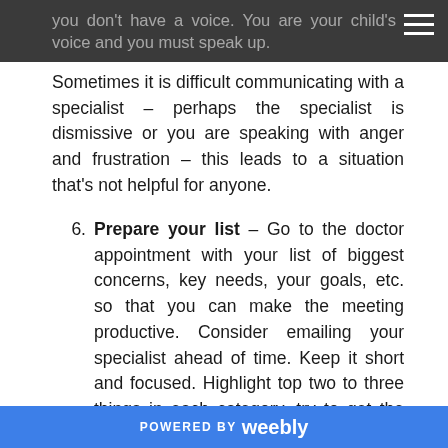you don't have a voice. You are your child's voice and you must speak up.
Sometimes it is difficult communicating with a specialist – perhaps the specialist is dismissive or you are speaking with anger and frustration – this leads to a situation that's not helpful for anyone.
6. Prepare your list – Go to the doctor appointment with your list of biggest concerns, key needs, your goals, etc. so that you can make the meeting productive. Consider emailing your specialist ahead of time. Keep it short and focused. Highlight top two to three things in each category, try to get the priorities down to one to two paragraphs. Brevity and focus makes
POWERED BY weebly